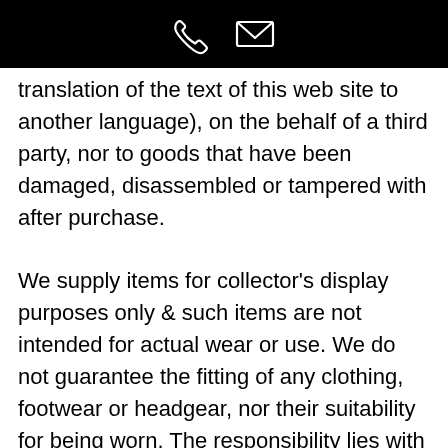translation of the text of this web site to another language), on the behalf of a third party, nor to goods that have been damaged, disassembled or tampered with after purchase. We supply items for collector's display purposes only & such items are not intended for actual wear or use. We do not guarantee the fitting of any clothing, footwear or headgear, nor their suitability for being worn. The responsibility lies with the customer to ensure that any goods ordered are allowed to be imported into your country. If an item has to be returned because it cannot be imported to your country, we can offer other goods to the same value in exchange, less any return postage & import costs incurred by us, but are